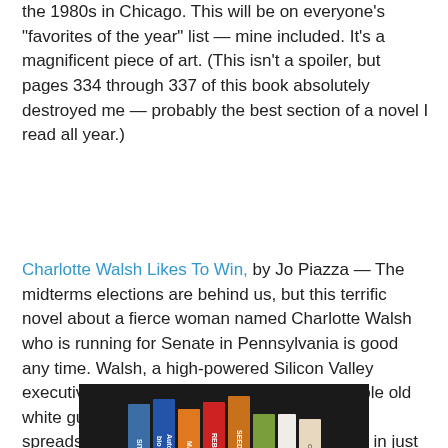the 1980s in Chicago. This will be on everyone's "favorites of the year" list — mine included. It's a magnificent piece of art. (This isn't a spoiler, but pages 334 through 337 of this book absolutely destroyed me — probably the best section of a novel I read all year.)
Charlotte Walsh Likes To Win, by Jo Piazza — The midterms elections are behind us, but this terrific novel about a fierce woman named Charlotte Walsh who is running for Senate in Pennsylvania is good any time. Walsh, a high-powered Silicon Valley executive, is running against your typical terrible old white guy who constantly condescends to her, spreads nasty rumors about her, and engages in just about every possible brand of dirty politics you can imagine. You'll pretty easily recognize him. But Walsh perseveres, and as you read, you realize just how much harder it is for women to run for national office than it is for men.
[Figure (photo): A row of books standing upright against a dark background, showing various colored spines including blue, orange, red, and white books.]